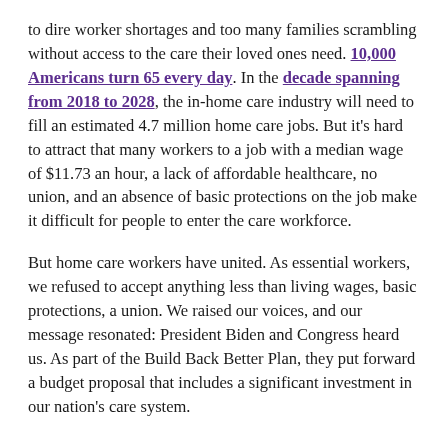to dire worker shortages and too many families scrambling without access to the care their loved ones need. 10,000 Americans turn 65 every day. In the decade spanning from 2018 to 2028, the in-home care industry will need to fill an estimated 4.7 million home care jobs. But it's hard to attract that many workers to a job with a median wage of $11.73 an hour, a lack of affordable healthcare, no union, and an absence of basic protections on the job make it difficult for people to enter the care workforce.
But home care workers have united. As essential workers, we refused to accept anything less than living wages, basic protections, a union. We raised our voices, and our message resonated: President Biden and Congress heard us. As part of the Build Back Better Plan, they put forward a budget proposal that includes a significant investment in our nation's care system.